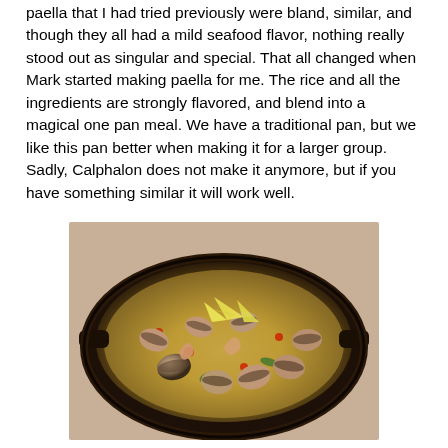paella that I had tried previously were bland, similar, and though they all had a mild seafood flavor, nothing really stood out as singular and special. That all changed when Mark started making paella for me. The rice and all the ingredients are strongly flavored, and blend into a magical one pan meal. We have a traditional pan, but we like this pan better when making it for a larger group. Sadly, Calphalon does not make it anymore, but if you have something similar it will work well.
[Figure (photo): A dark paella pan filled with seafood paella including clams, shrimp, and lemon wedges arranged on top of saffron rice.]
From Mark — Since paella is one of Spain's most iconic dishes, I am drawn to the classic elements that make it so special. Paella is first and foremost a rice dish. So when I am...